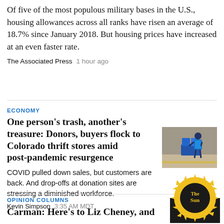Of five of the most populous military bases in the U.S., housing allowances across all ranks have risen an average of 18.7% since January 2018. But housing prices have increased at an even faster rate.
The Associated Press   1 hour ago
ECONOMY
One person's trash, another's treasure: Donors, buyers flock to Colorado thrift stores amid post-pandemic resurgence
[Figure (photo): A person in a blue vest pushing a cart loaded with blue bins/containers in what appears to be a warehouse or donation center.]
COVID pulled down sales, but customers are back. And drop-offs at donation sites are stressing a diminished workforce.
Kevin Simpson   3:35 AM MDT
OPINION COLUMNS
Carman: Here's to Liz Cheney, and
[Figure (logo): The Colorado Sun logo - circular yellow/gold sun design with 'The Sun' text in the center on a dark background.]